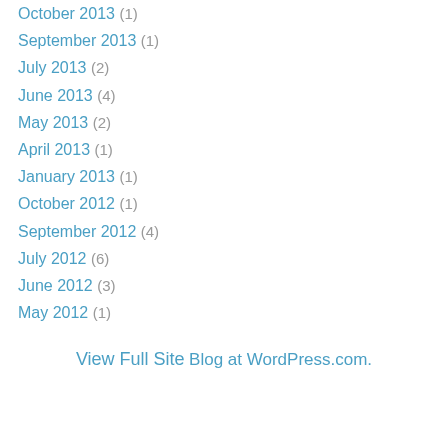October 2013 (1)
September 2013 (1)
July 2013 (2)
June 2013 (4)
May 2013 (2)
April 2013 (1)
January 2013 (1)
October 2012 (1)
September 2012 (4)
July 2012 (6)
June 2012 (3)
May 2012 (1)
View Full Site
Blog at WordPress.com.